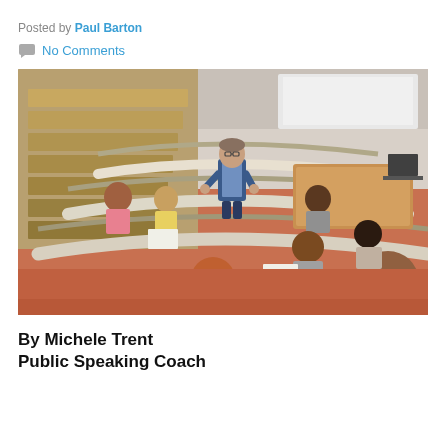Posted by Paul Barton
No Comments
[Figure (photo): A professor or lecturer standing at the front of a tiered lecture hall, facing students who are seated at curved desks taking notes. The room has wooden furniture and a terracotta-colored floor.]
By Michele Trent
Public Speaking Coach